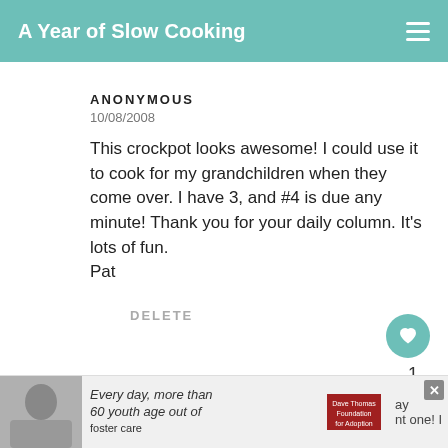A Year of Slow Cooking
ANONYMOUS
10/08/2008
This crockpot looks awesome! I could use it to cook for my grandchildren when they come over. I have 3, and #4 is due any minute! Thank you for your daily column. It's lots of fun. Pat
DELETE
1
WHAT'S NEXT → CrockPot Cherries...
ANONYMOUS
10/08/2008
[Figure (screenshot): Advertisement banner at bottom: person photo on left, text 'Every day, more than 60 youth age out of foster care' in center, Dave Thomas Foundation for Adoption logo, partial text on right]